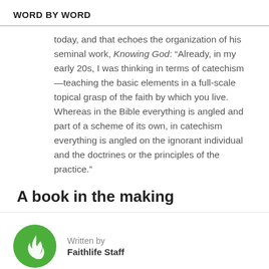WORD BY WORD
today, and that echoes the organization of his seminal work, Knowing God: “Already, in my early 20s, I was thinking in terms of catechism—teaching the basic elements in a full-scale topical grasp of the faith by which you live. Whereas in the Bible everything is angled and part of a scheme of its own, in catechism everything is angled on the ignorant individual and the doctrines or the principles of the practice.”
A book in the making
Written by
Faithlife Staff